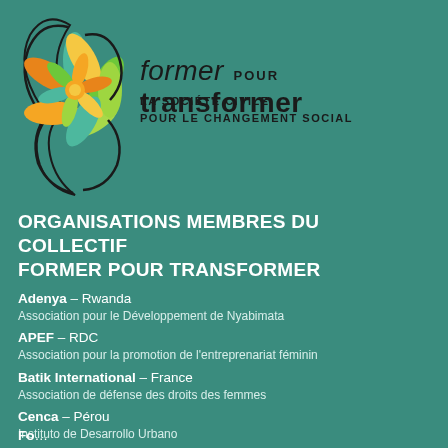[Figure (logo): Former pour transformer logo — decorative flower/leaf mandala in teal, green, yellow and orange colors with swirl accents, beside text 'former POUR transformer / LA SOCIÉTÉ CIVILE / POUR LE CHANGEMENT SOCIAL']
ORGANISATIONS MEMBRES DU COLLECTIF FORMER POUR TRANSFORMER
Adenya – Rwanda
Association pour le Développement de Nyabimata
APEF – RDC
Association pour la promotion de l'entreprenariat féminin
Batik International – France
Association de défense des droits des femmes
Cenca – Pérou
Instituto de Desarrollo Urbano
Duhamic-Adri – Rwanda
Association pour le développement rural intégré
FEDINA – Inde
Fondation pour les innovations éducatives en Asie
Fo… (cut off)